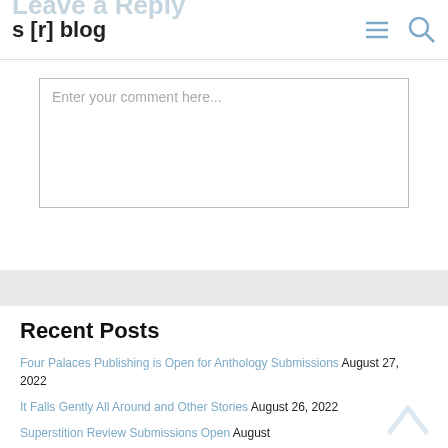s [r] blog
Enter your comment here...
Recent Posts
Four Palaces Publishing is Open for Anthology Submissions August 27, 2022
It Falls Gently All Around and Other Stories August 26, 2022
Superstition Review Submissions Open August